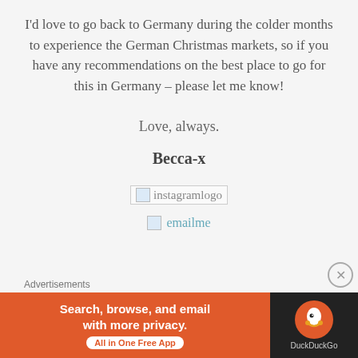I'd love to go back to Germany during the colder months to experience the German Christmas markets, so if you have any recommendations on the best place to go for this in Germany – please let me know!
Love, always.
Becca-x
[Figure (logo): Instagram logo broken image placeholder with text 'instagramlogo']
[Figure (logo): Broken image placeholder with text 'emailme']
Advertisements
[Figure (infographic): DuckDuckGo advertisement banner: 'Search, browse, and email with more privacy. All in One Free App' with DuckDuckGo logo on dark background]